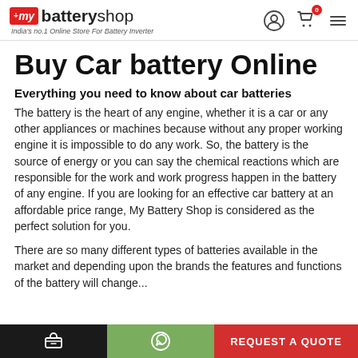[Figure (logo): My Battery Shop logo with red box containing 'my', bold 'battery' and regular 'shop' text, tagline 'India's no.1 Online Store For Battery Inverter']
Buy Car battery Online
Everything you need to know about car batteries
The battery is the heart of any engine, whether it is a car or any other appliances or machines because without any proper working engine it is impossible to do any work. So, the battery is the source of energy or you can say the chemical reactions which are responsible for the work and work progress happen in the battery of any engine. If you are looking for an effective car battery at an affordable price range, My Battery Shop is considered as the perfect solution for you.
There are so many different types of batteries available in the market and depending upon the brands the features and functions of the battery will change...
📞  WhatsApp  REQUEST A QUOTE